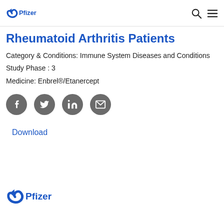Pfizer logo with search and menu icons
Rheumatoid Arthritis Patients
Category & Conditions: Immune System Diseases and Conditions
Study Phase : 3
Medicine: Enbrel®/Etanercept
[Figure (infographic): Social sharing icons: Facebook, Twitter, LinkedIn, Email]
Download
[Figure (logo): Pfizer logo at bottom of page]